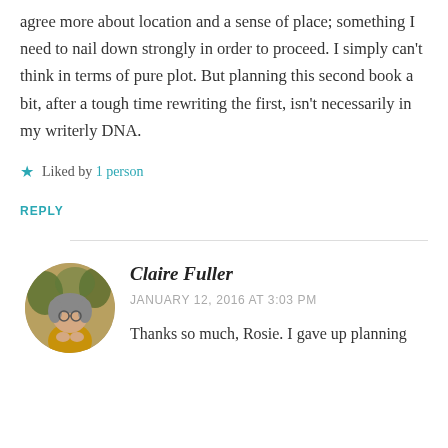agree more about location and a sense of place; something I need to nail down strongly in order to proceed. I simply can't think in terms of pure plot. But planning this second book a bit, after a tough time rewriting the first, isn't necessarily in my writerly DNA.
★ Liked by 1 person
REPLY
Claire Fuller
JANUARY 12, 2016 AT 3:03 PM
Thanks so much, Rosie. I gave up planning